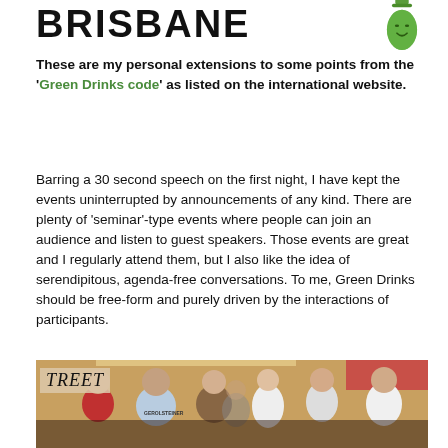BRISBANE
These are my personal extensions to some points from the 'Green Drinks code' as listed on the international website.
Barring a 30 second speech on the first night, I have kept the events uninterrupted by announcements of any kind. There are plenty of 'seminar'-type events where people can join an audience and listen to guest speakers. Those events are great and I regularly attend them, but I also like the idea of serendipitous, agenda-free conversations. To me, Green Drinks should be free-form and purely driven by the interactions of participants.
[Figure (photo): Photo of a crowd of people networking/socialising at a Green Drinks event indoors, with a sign partially reading 'TREET' visible on the left wall.]